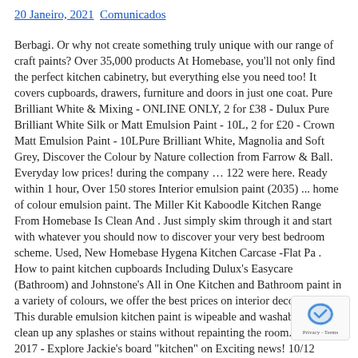20 Janeiro, 2021   Comunicados
Berbagi. Or why not create something truly unique with our range of craft paints? Over 35,000 products At Homebase, you'll not only find the perfect kitchen cabinetry, but everything else you need too! It covers cupboards, drawers, furniture and doors in just one coat. Pure Brilliant White & Mixing - ONLINE ONLY, 2 for £38 - Dulux Pure Brilliant White Silk or Matt Emulsion Paint - 10L, 2 for £20 - Crown Matt Emulsion Paint - 10LPure Brilliant White, Magnolia and Soft Grey, Discover the Colour by Nature collection from Farrow & Ball. Everyday low prices! during the company … 122 were here. Ready within 1 hour, Over 150 stores Interior emulsion paint (2035) ... home of colour emulsion paint. The Miller Kit Kaboodle Kitchen Range From Homebase Is Clean And . Just simply skim through it and start with whatever you should now to discover your very best bedroom scheme. Used, New Homebase Hygena Kitchen Carcase -Flat Pa . How to paint kitchen cupboards Including Dulux's Easycare (Bathroom) and Johnstone's All in One Kitchen and Bathroom paint in a variety of colours, we offer the best prices on interior decoration! This durable emulsion kitchen paint is wipeable and washable, can clean up any splashes or stains without repainting the room. Oct 25, 2017 - Explore Jackie's board "kitchen" on Exciting news! 10/12 Whites and greens . Dulux Authentic Origins